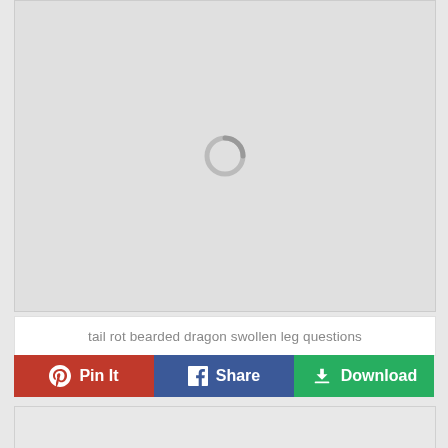[Figure (other): Loading spinner icon centered on a light gray rectangular image area]
tail rot bearded dragon swollen leg questions
[Figure (other): Pin It button (red, Pinterest logo), Share button (blue, Facebook logo), Download button (green, download icon) — social sharing bar]
[Figure (other): Bottom gray card area, partially visible]